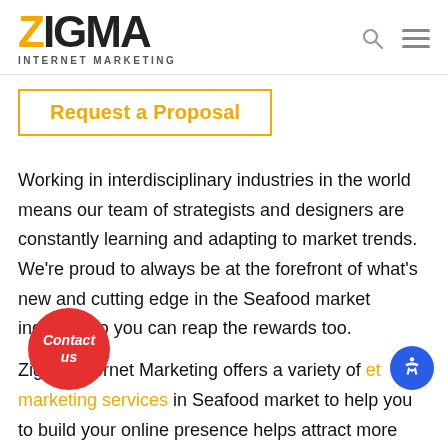ZIGMA INTERNET MARKETING
Request a Proposal
Working in interdisciplinary industries in the world means our team of strategists and designers are constantly learning and adapting to market trends. We're proud to always be at the forefront of what's new and cutting edge in the Seafood market industry, so you can reap the rewards too.
Zigma Internet Marketing offers a variety of internet marketing services in Seafood market to help you to build your online presence helps attract more potential clients.